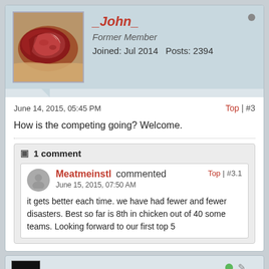[Figure (photo): Profile avatar showing raw steak meat on brown paper]
_John_
Former Member
Joined: Jul 2014    Posts: 2394
June 14, 2015, 05:45 PM
Top | #3
How is the competing going? Welcome.
1 comment
Meatmeinstl commented
June 15, 2015, 07:50 AM
Top | #3.1
it gets better each time. we have had fewer and fewer disasters. Best so far is 8th in chicken out of 40 some teams. Looking forward to our first top 5
[Figure (photo): Dark profile avatar - second user]